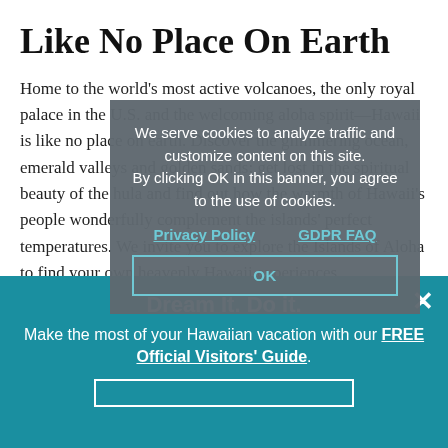Like No Place On Earth
Home to the world’s most active volcanoes, the only royal palace in the U.S. and the welcoming aloha spirit—Hawaii is like no place on earth. Discover the glimmering ocean, emerald valleys and golden sands; get lost in the spiritual beauty of the hula and find out how the warmth of Hawaii’s people wonderfully complement the islands’ perfect temperatures. We invite you to explore the Islands of Aloha to find your own heavenly Hawaii experiences. Aloha.
[Figure (screenshot): GDPR cookie consent modal overlay with dark gray background. Text reads: 'We serve cookies to analyze traffic and customize content on this site. By clicking OK in this banner, you agree to the use of cookies.' Links for 'Privacy Policy' and 'GDPR FAQ' in teal/cyan. An 'OK' button outlined in teal at the bottom.]
Dream It. Do it.
Make the most of your Hawaiian vacation with our FREE Official Visitors' Guide.